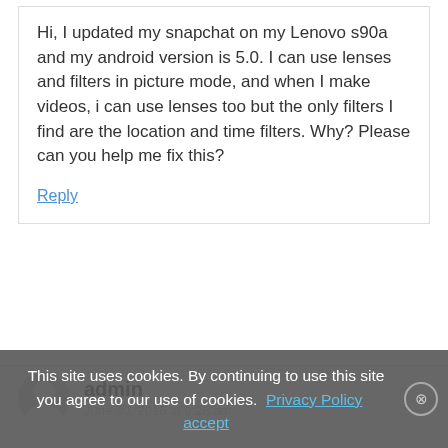Hi, I updated my snapchat on my Lenovo s90a and my android version is 5.0. I can use lenses and filters in picture mode, and when I make videos, i can use lenses too but the only filters I find are the location and time filters. Why? Please can you help me fix this?
Reply
admin
This site uses cookies. By continuing to use this site you agree to our use of cookies. Privacy Policy   accept